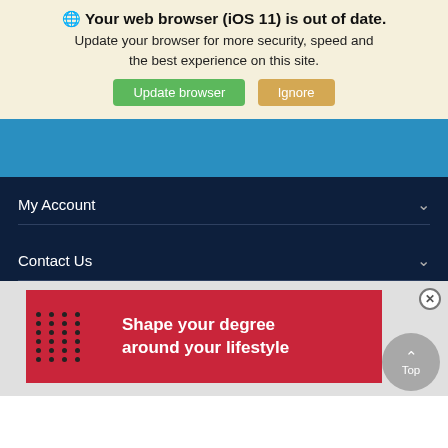Your web browser (iOS 11) is out of date.
Update your browser for more security, speed and the best experience on this site.
Update browser  Ignore
[Figure (screenshot): Blue navigation header bar]
My Account
Contact Us
[Figure (infographic): Red advertisement banner: Shape your degree around your lifestyle]
Top